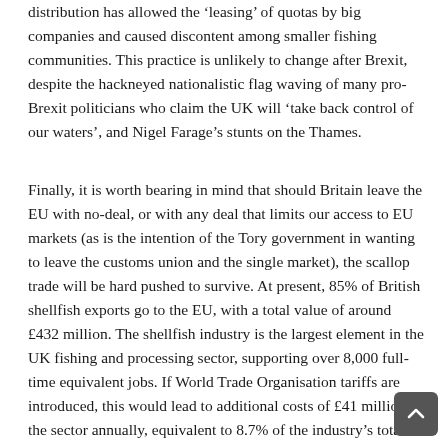distribution has allowed the 'leasing' of quotas by big companies and caused discontent among smaller fishing communities. This practice is unlikely to change after Brexit, despite the hackneyed nationalistic flag waving of many pro-Brexit politicians who claim the UK will 'take back control of our waters', and Nigel Farage's stunts on the Thames.
Finally, it is worth bearing in mind that should Britain leave the EU with no-deal, or with any deal that limits our access to EU markets (as is the intention of the Tory government in wanting to leave the customs union and the single market), the scallop trade will be hard pushed to survive. At present, 85% of British shellfish exports go to the EU, with a total value of around £432 million. The shellfish industry is the largest element in the UK fishing and processing sector, supporting over 8,000 full-time equivalent jobs. If World Trade Organisation tariffs are introduced, this would lead to additional costs of £41 million to the sector annually, equivalent to 8.7% of the industry's total turnover. Furthermore, the inevitable delays caused by customs checks and non-tariff barriers such as hygiene checks (if our – currently common – rules diverge), would make the supply chain